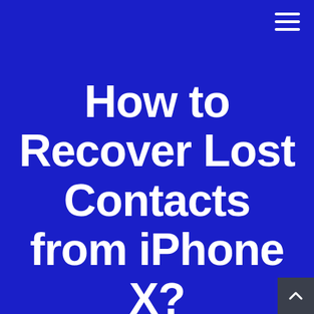[Figure (other): Hamburger menu icon (three horizontal white lines) in top-right corner on dark blue background]
How to Recover Lost Contacts from iPhone X?
[Figure (other): Back-to-top arrow button (chevron up, white on dark gray) in bottom-right corner]